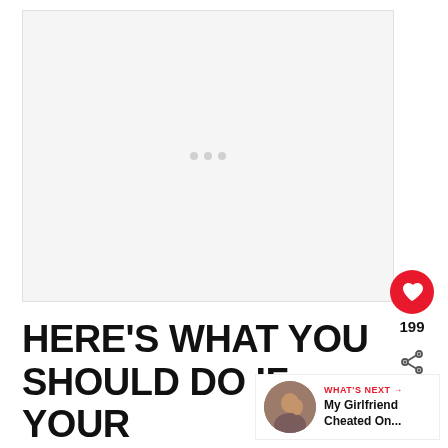[Figure (other): Ad placeholder with three gray dots on a light gray background]
HERE'S WHAT YOU SHOULD DO IF YOUR GIRLFRIEND IS STILL
199
WHAT'S NEXT → My Girlfriend Cheated On...